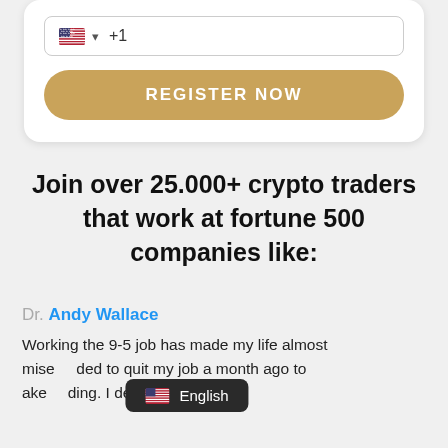[Figure (screenshot): Phone number input field with US flag icon, dropdown arrow, and +1 country code]
[Figure (screenshot): Gold/tan rounded button with text REGISTER NOW]
Join over 25.000+ crypto traders that work at fortune 500 companies like:
Dr. Andy Wallace
Working the 9-5 job has made my life almost mise... ded to quit my job a month ago to ake... ding. I decided to explore
[Figure (screenshot): Language selector overlay showing US flag and English label on dark background]